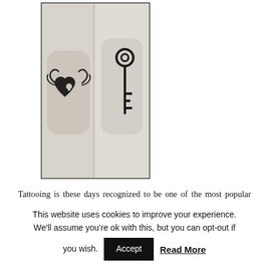[Figure (photo): Black and white photo of two wrists with matching tattoos: a decorative heart-shaped lock on one wrist and an ornate skeleton key on the other]
Tattooing is these days recognized to be one of the most popular social phenomenon. It is so, because in most cases plenty young people are pleased with them and have respect for those people, who have decided themselves to make a tattoo on their skin. In addition, they also consider on their own to decide for such an
This website uses cookies to improve your experience. We'll assume you're ok with this, but you can opt-out if you wish.